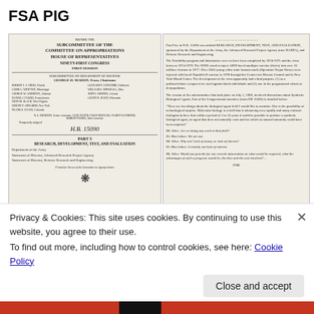FSA PIG
[Figure (screenshot): Scanned page of U.S. House of Representatives document: SUBCOMMITTEE OF THE COMMITTEE ON APPROPRIATIONS, HOUSE OF REPRESENTATIVES, NINETY-FIRST CONGRESS, FIRST SESSION, SUBCOMMITTEE ON DEPARTMENT OF DEFENSE, GEORGE H. MAHON, Texas, Chairman. Lists of committee members on left and right columns. Bill number H.R. 15090. PART 5: RESEARCH, DEVELOPMENT, TEST, AND EVALUATION, Department of the Army, Statement of Director, Advanced Research Project Agency, Statement of Director, Defense Research and Engineering.]
[Figure (screenshot): Scanned page of congressional testimony text about research, development, test, and evaluation. Part Five of H.R. 15090 entitled RESEARCH, DEVELOPMENT, TEST, AND EVALUATION sponsored by Department of Army, Advanced Research Project Agency (now DARPA), and Defense Research and Engineering. Contains dialog between Mr. Sikes and Dr. MacArthur about synthetic biological agents. Stamp reads 376K. NFO stamp in margin.]
Privacy & Cookies: This site uses cookies. By continuing to use this website, you agree to their use.
To find out more, including how to control cookies, see here: Cookie Policy
Close and accept